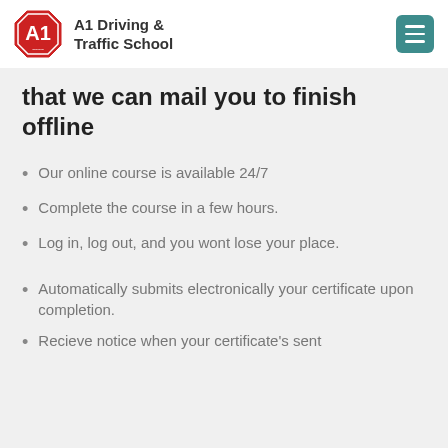A1 Driving & Traffic School
that we can mail you to finish offline
Our online course is available 24/7
Complete the course in a few hours.
Log in, log out, and you wont lose your place.
Automatically submits electronically your certificate upon completion.
Recieve notice when your certificate's sent